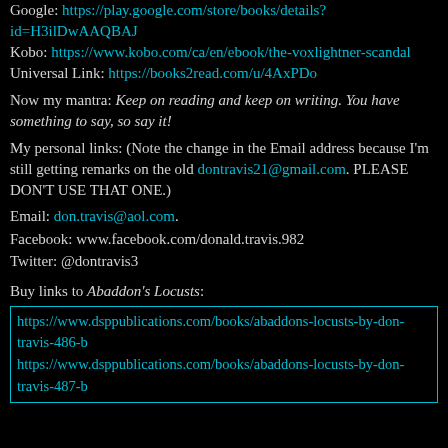Google: https://play.google.com/store/books/details?id=H3ilDwAAQBAJ
Kobo: https://www.kobo.com/ca/en/ebook/the-voxlightner-scandal
Universal Link: https://books2read.com/u/4AxPDo
Now my mantra: Keep on reading and keep on writing. You have something to say, so say it!
My personal links: (Note the change in the Email address because I'm still getting remarks on the old dontravis21@gmail.com. PLEASE DON'T USE THAT ONE.)
Email: don.travis@aol.com.
Facebook: www.facebook.com/donald.travis.982
Twitter: @dontravis3
Buy links to Abaddon's Locusts:
https://www.dsppublications.com/books/abaddons-locusts-by-don-travis-486-b
https://www.dsppublications.com/books/abaddons-locusts-by-don-travis-487-b